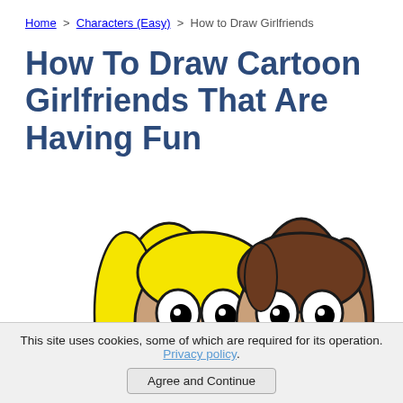Home > Characters (Easy) > How to Draw Girlfriends
How To Draw Cartoon Girlfriends That Are Having Fun
[Figure (illustration): Two cartoon girlfriend characters side by side. Left character has bright yellow hair in a ponytail, tan skin, large white eyes with black pupils, and an open smiling mouth with red lips. Right character has long brown hair, tan skin, large white eyes with black pupils, and an open smiling mouth with red lips. Both are cropped at the shoulders, drawn in a simple cartoon style with thick black outlines.]
This site uses cookies, some of which are required for its operation. Privacy policy.